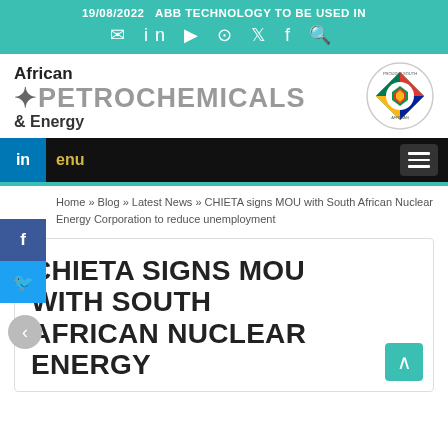19/08/2022  ABB TECHNOLOGY TO BE USED IN
[Figure (logo): African Petrochemicals & Energy logo with Proudly South African badge]
Menu
Home » Blog » Latest News » CHIETA signs MOU with South African Nuclear Energy Corporation to reduce unemployment
CHIETA SIGNS MOU WITH SOUTH AFRICAN NUCLEAR ENERGY